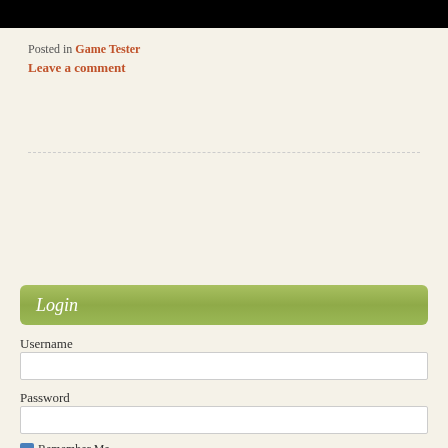[Figure (other): Black banner/header bar at top of page]
Posted in Game Tester
Leave a comment
Search ...
Login
Username
Password
Remember Me